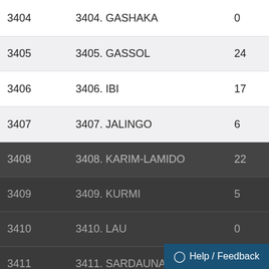| Code | Name | Count | Percentage |
| --- | --- | --- | --- |
| 3404 | 3404. GASHAKA | 0 | 0% |
| 3405 | 3405. GASSOL | 24 | 0.3% |
| 3406 | 3406. IBI | 17 | 0.2% |
| 3407 | 3407. JALINGO | 6 | 0.1% |
| 3408 | 3408. KARIM-LAMIDO | 22 | 0.3% |
| 3409 | 3409. KURMI | 5 | 0.1% |
| 3410 | 3410. LAU | 0 | 0% |
| 3411 | 3411. SARDAUNA | 14 | 0.2% |
| 3412 | 3412. TAKUM | 22 | 0.3% |
This site uses cookies to optimize functionality and give you the best possible experience. If you continue to navigate this website beyond this page, cookies will be placed on your browser. To learn more about cookies, click here.